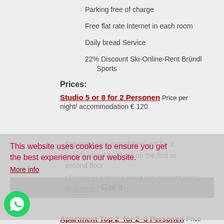Parking free of charge
Free flat rate Internet in each room
Daily bread Service
22% Discount Ski-Online-Rent Bründl Sports
Prices:
Studio 5 or 8 for 2 Personen  Price per night/ accommodation € 120
Separate accommodation unit for 2 people, roughly 22 m² on the first or second floor
* Choose your desired period and overnight stays -
klick here
This website uses cookies to ensure you get the best experience on our website.
More info
Got it
Apartment Top 2  for 2–3 Personen  Price